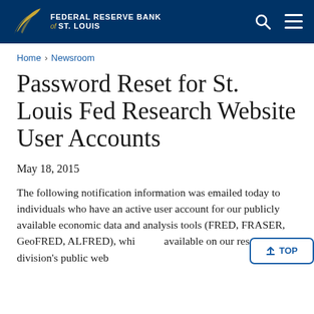FEDERAL RESERVE BANK of ST. LOUIS
Home > Newsroom
Password Reset for St. Louis Fed Research Website User Accounts
May 18, 2015
The following notification information was emailed today to individuals who have an active user account for our publicly available economic data and analysis tools (FRED, FRASER, GeoFRED, ALFRED), which are available on our research division's public website.